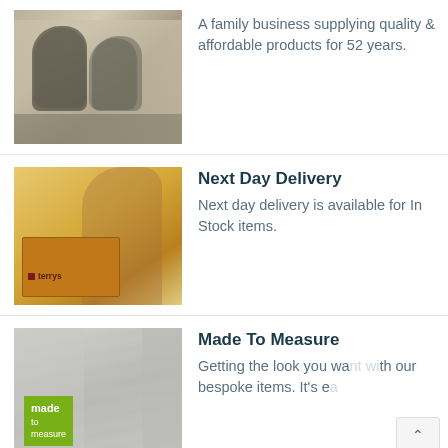[Figure (photo): Vintage black and white photo of two people, appears to be founders or early employees]
A family business supplying quality & affordable products for 52 years.
[Figure (photo): Person unpacking a terrys branded cardboard box]
Next Day Delivery
Next day delivery is available for In Stock items.
[Figure (photo): Fabric/curtain with a green 'made to measure' label overlay]
Made To Measure
Getting the look you wa  'h our bespoke items. It’s e